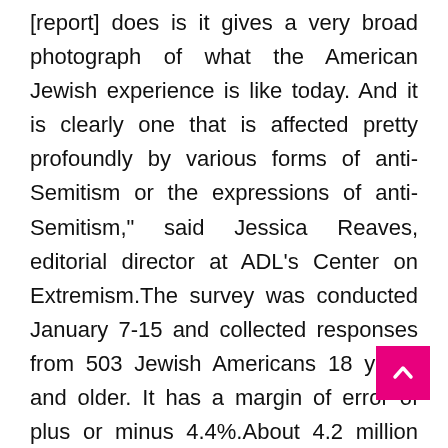[report] does is it gives a very broad photograph of what the American Jewish experience is like today. And it is clearly one that is affected pretty profoundly by various forms of anti-Semitism or the expressions of anti-Semitism," said Jessica Reaves, editorial director at ADL's Center on Extremism.The survey was conducted January 7-15 and collected responses from 503 Jewish Americans 18 years and older. It has a margin of error of plus or minus 4.4%.About 4.2 million American adults identify as Jewish "by religion," representing 1.8% of the U.S. adult